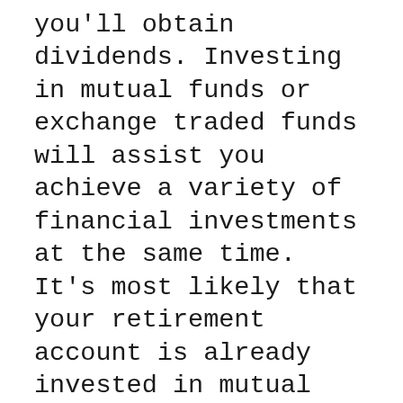you'll obtain dividends. Investing in mutual funds or exchange traded funds will assist you achieve a variety of financial investments at the same time. It's most likely that your retirement account is already invested in mutual funds.
One more approach for spending your money is to acquire or sell choices. Alternatives are agreements that enable you to get or offer a possession at a future date. Making use of options will certainly assist you forecast price changes. This is an usual means for clever capitalists to invest. If you're looking to make a lot of cash rapidly, buy stocks that have low volatility. These will certainly provide the greatest returns over the long run, however they can also be risky. If you're investing your